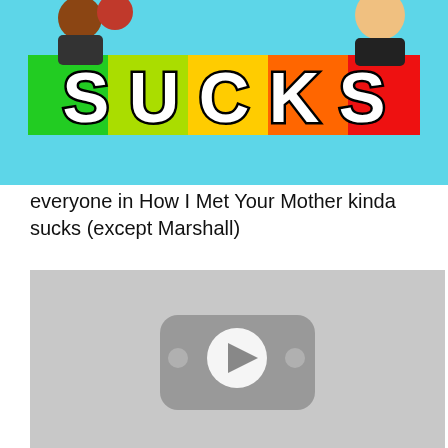[Figure (screenshot): YouTube video thumbnail showing the word SUCKS in large bold white letters on a colorful background (green, yellow, orange, red gradient), with cartoon character head cutouts visible at the top.]
everyone in How I Met Your Mother kinda sucks (except Marshall)
[Figure (screenshot): Greyed-out YouTube video embed placeholder with a YouTube play button icon in the center, shown in grayscale.]